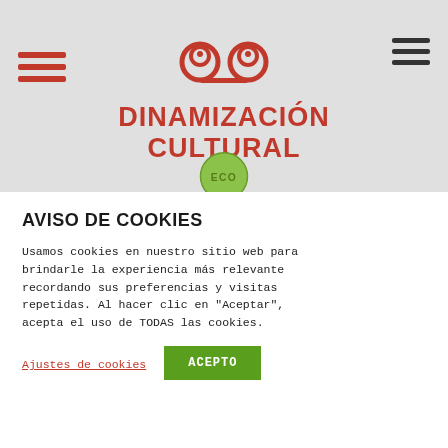[Figure (logo): Red spiral/swirl logo icon at the top center of the header, partially visible]
DINAMIZACIÓN CULTURAL
[Figure (logo): Green circular ECO badge logo partially visible at the bottom of the header section]
AVISO DE COOKIES
Usamos cookies en nuestro sitio web para brindarle la experiencia más relevante recordando sus preferencias y visitas repetidas. Al hacer clic en "Aceptar", acepta el uso de TODAS las cookies.
Ajustes de cookies
ACEPTO